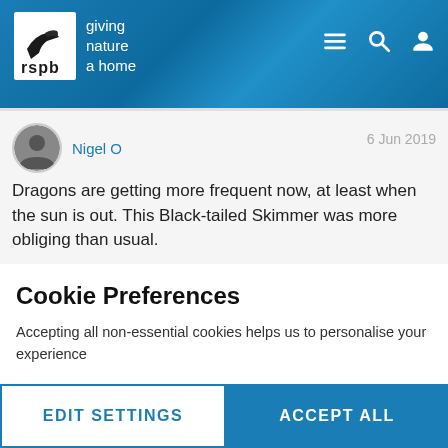[Figure (logo): RSPB logo with bird silhouette and text 'giving nature a home']
[Figure (screenshot): RSPB website header with navigation icons (menu, search, profile)]
Nigel O
6 Jun 2019
Dragons are getting more frequent now, at least when the sun is out. This Black-tailed Skimmer was more obliging than usual.
[Figure (photo): Partial green nature/plant photo at bottom of post]
Cookie Preferences
Accepting all non-essential cookies helps us to personalise your experience
EDIT SETTINGS
ACCEPT ALL